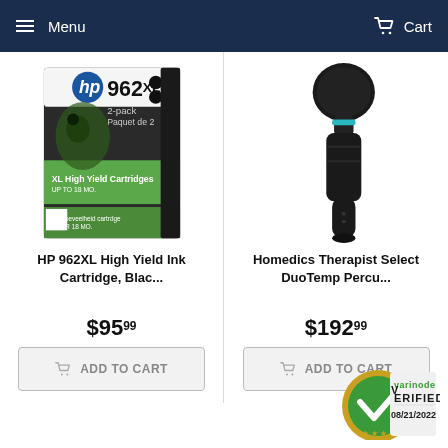Menu   Cart
[Figure (photo): HP 962XL High Yield Ink Cartridge 2-pack product box with green and black design]
[Figure (photo): Homedics Therapist Select DuoTemp Percussion massage gun, black]
HP 962XL High Yield Ink Cartridge, Blac...
Homedics Therapist Select DuoTemp Percu...
$95.99
$192.99
ADD TO CART
ADD TO CART
[Figure (logo): Varinode Verified 08/21/2022 badge]